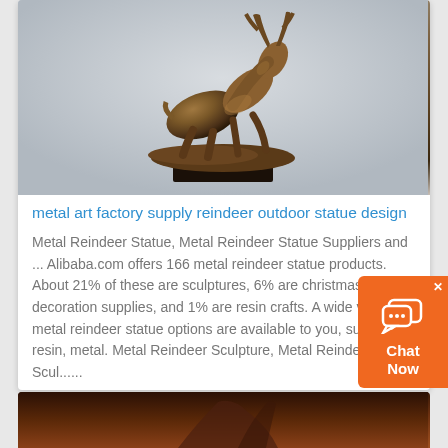[Figure (photo): Bronze metal reindeer sculpture/statue on a dark base, shown against a light gray background]
metal art factory supply reindeer outdoor statue design
Metal Reindeer Statue, Metal Reindeer Statue Suppliers and ... Alibaba.com offers 166 metal reindeer statue products. About 21% of these are sculptures, 6% are christmas decoration supplies, and 1% are resin crafts. A wide variety of metal reindeer statue options are available to you, such as resin, metal. Metal Reindeer Sculpture, Metal Reindeer Scul......
[Figure (other): INQUIRY button (blue)]
[Figure (other): CONTACT US button (teal/cyan)]
[Figure (other): Orange chat widget with speech bubble icon and 'Chat Now' text]
[Figure (photo): Partial view of another dark bronze/copper sculpture at bottom of page]